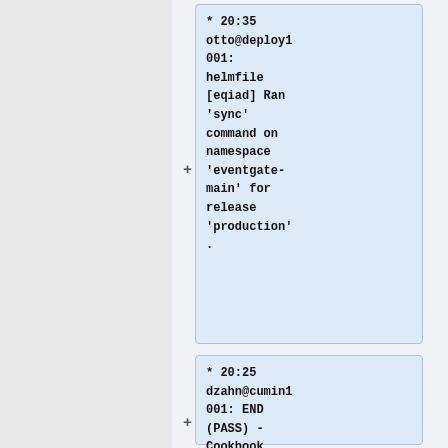* 20:35 otto@deploy1001: helmfile [eqiad] Ran 'sync' command on namespace 'eventgate-main' for release 'production'.
* 20:25 dzahn@cumin1001: END (PASS) - Cookbook sre.hosts.downtime (exit_code=0